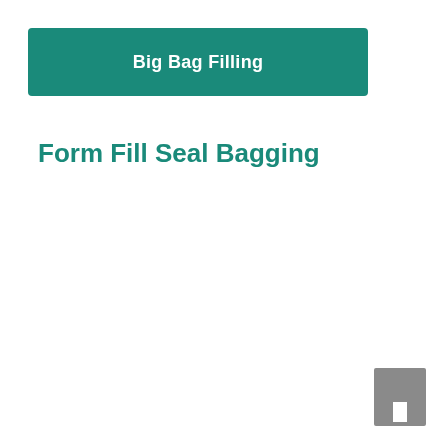Big Bag Filling
Form Fill Seal Bagging
[Figure (logo): Company logo mark — gray rectangle with white rectangular cutout at bottom center]